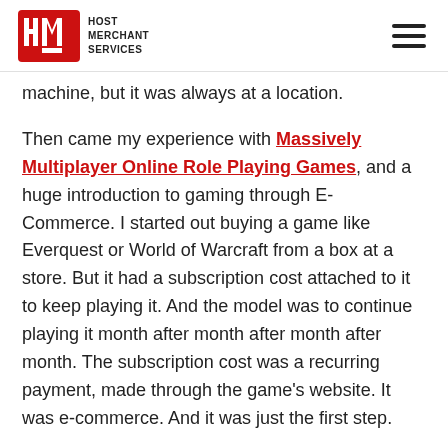Host Merchant Services
game, playing game machine, but it was always at a location.
Then came my experience with Massively Multiplayer Online Role Playing Games, and a huge introduction to gaming through E-Commerce. I started out buying a game like Everquest or World of Warcraft from a box at a store. But it had a subscription cost attached to it to keep playing it. And the model was to continue playing it month after month after month after month. The subscription cost was a recurring payment, made through the game's website. It was e-commerce. And it was just the first step.